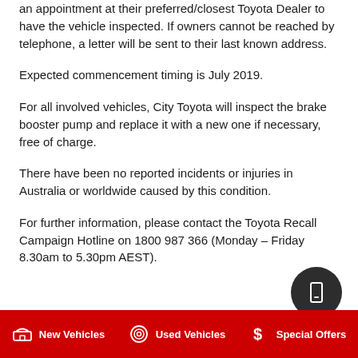an appointment at their preferred/closest Toyota Dealer to have the vehicle inspected. If owners cannot be reached by telephone, a letter will be sent to their last known address.
Expected commencement timing is July 2019.
For all involved vehicles, City Toyota will inspect the brake booster pump and replace it with a new one if necessary, free of charge.
There have been no reported incidents or injuries in Australia or worldwide caused by this condition.
For further information, please contact the Toyota Recall Campaign Hotline on 1800 987 366 (Monday – Friday 8.30am to 5.30pm AEST).
New Vehicles   Used Vehicles   Special Offers